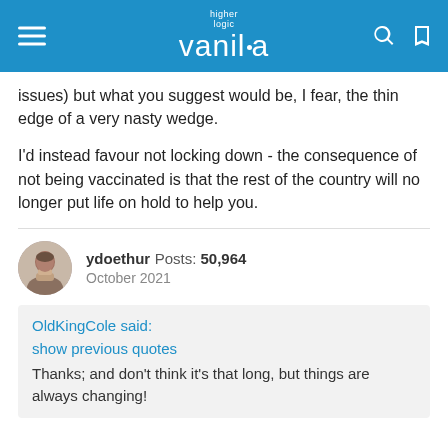higher logic vanilla
issues) but what you suggest would be, I fear, the thin edge of a very nasty wedge.

I'd instead favour not locking down - the consequence of not being vaccinated is that the rest of the country will no longer put life on hold to help you.
ydoethur  Posts: 50,964
October 2021
OldKingCole said:
show previous quotes
Thanks; and don't think it's that long, but things are always changing!